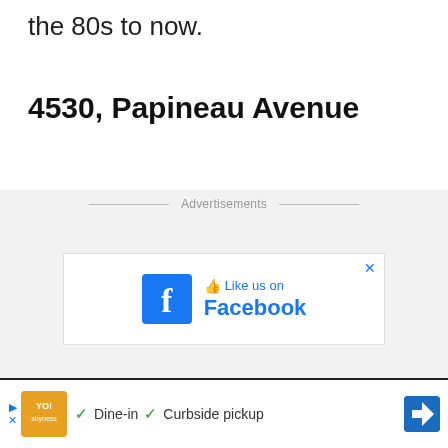the 80s to now.
4530, Papineau Avenue
Advertisements
[Figure (screenshot): Facebook 'Like us on Facebook' advertisement box with blue Facebook logo 'f' icon and text 'Like us on Facebook' in blue, with an X close button in the top right corner]
[Figure (screenshot): Bottom advertisement banner with orange logo, checkmarks for 'Dine-in' and 'Curbside pickup', and a blue diamond-shaped navigation arrow icon]